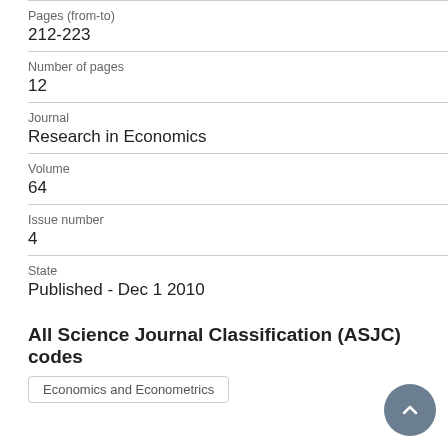Pages (from-to)
212-223
Number of pages
12
Journal
Research in Economics
Volume
64
Issue number
4
State
Published - Dec 1 2010
All Science Journal Classification (ASJC) codes
Economics and Econometrics